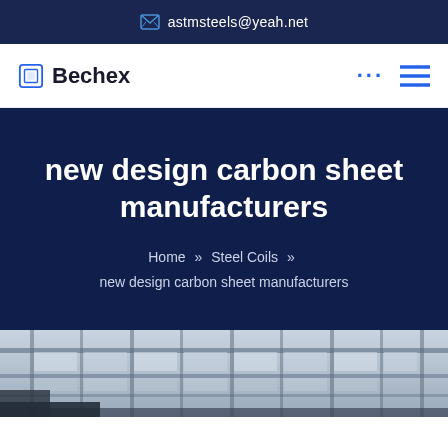astmsteels@yeah.net
Bechex
new design carbon sheet manufacturers
Home » Steel Coils » new design carbon sheet manufacturers
[Figure (photo): Industrial steel facility interior showing roof/ceiling structure with metal framework and glass panels]